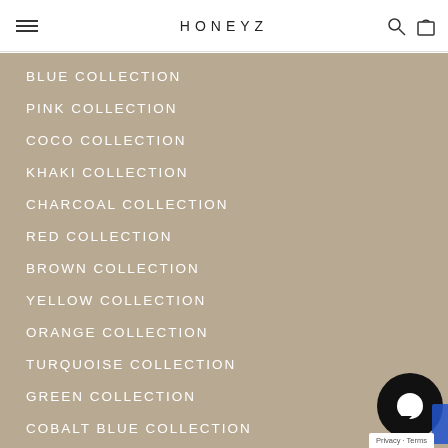HONEYZ
BLUE COLLECTION
PINK COLLECTION
COCO COLLECTION
KHAKI COLLECTION
CHARCOAL COLLECTION
RED COLLECTION
BROWN COLLECTION
YELLOW COLLECTION
ORANGE COLLECTION
TURQUOISE COLLECTION
GREEN COLLECTION
COBALT BLUE COLLECTION